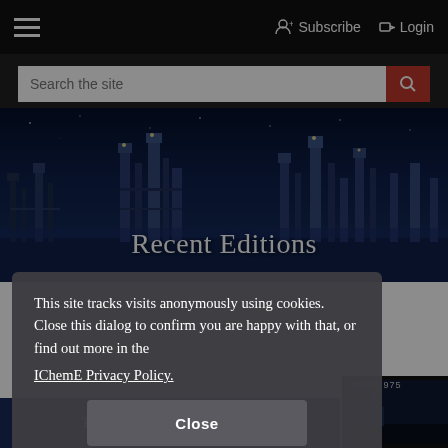☰  Subscribe  Login
Search the site
[Figure (photo): Night-time aerial photo of an industrial chemical plant or refinery with illuminated towers and structures against a dark blue sky]
Recent Editions
emical election site.
[Figure (photo): Magazine thumbnail showing The Chemical Engineer cover, ISSUE 975]
The Chemical Engineer
This site tracks visits anonymously using cookies. Close this dialog to confirm you are happy with that, or find out more in the IChemE Privacy Policy.
Close